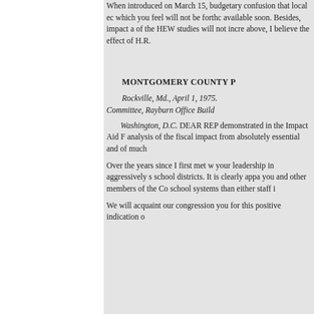When introduced on March 15, budgetary confusion that local ec which you feel will not be forthc available soon. Besides, impact a of the HEW studies will not incre above, I believe the effect of H.R.
MONTGOMERY COUNTY P
Rockville, Md., April 1, 1975. Committee, Rayburn Office Build
Washington, D.C. DEAR REP demonstrated in the Impact Aid F analysis of the fiscal impact from absolutely essential and of much
Over the years since I first met w your leadership in aggressively s school districts. It is clearly appa you and other members of the Co school systems than either staff i
We will acquaint our congression you for this positive indication o